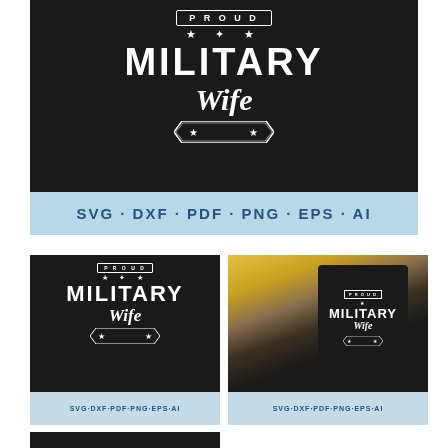[Figure (illustration): Proud Military Wife SVG design on black background with banner ribbon, stars, bold MILITARY text, and script Wife text with chevron decoration]
SVG · DXF · PDF · PNG · EPS · AI
[Figure (illustration): Smaller preview of Proud Military Wife SVG design on black background]
SVG·DXF·PDF·PNG·EPS·AI
[Figure (photo): Photo of black t-shirt with Proud Military Wife design, surrounded by sunflowers and jeans on wooden surface]
SVG·DXF·PDF·PNG·EPS·AI